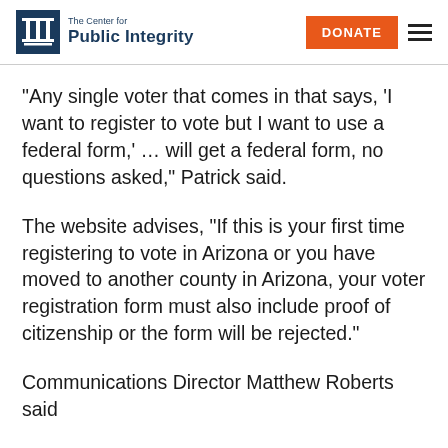The Center for Public Integrity
“Any single voter that comes in that says, ‘I want to register to vote but I want to use a federal form,’ … will get a federal form, no questions asked,” Patrick said.
The website advises, “If this is your first time registering to vote in Arizona or you have moved to another county in Arizona, your voter registration form must also include proof of citizenship or the form will be rejected.”
Communications Director Matthew Roberts said